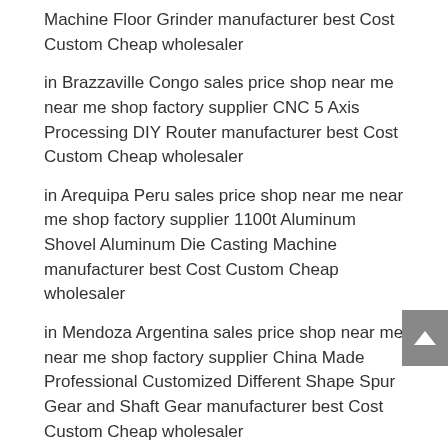Machine Floor Grinder manufacturer best Cost Custom Cheap wholesaler
in Brazzaville Congo sales price shop near me near me shop factory supplier CNC 5 Axis Processing DIY Router manufacturer best Cost Custom Cheap wholesaler
in Arequipa Peru sales price shop near me near me shop factory supplier 1100t Aluminum Shovel Aluminum Die Casting Machine manufacturer best Cost Custom Cheap wholesaler
in Mendoza Argentina sales price shop near me near me shop factory supplier China Made Professional Customized Different Shape Spur Gear and Shaft Gear manufacturer best Cost Custom Cheap wholesaler
in Mumbai India sales price shop near me near me shop factory supplier Precision Stepless Variator Udl Series B5 & B3 Mounting manufacturer best Cost